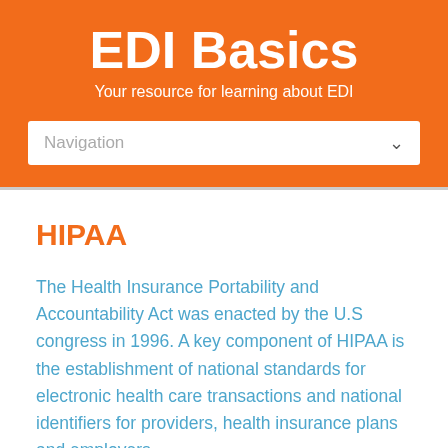EDI Basics
Your resource for learning about EDI
Navigation
HIPAA
The Health Insurance Portability and Accountability Act was enacted by the U.S congress in 1996. A key component of HIPAA is the establishment of national standards for electronic health care transactions and national identifiers for providers, health insurance plans and employers.